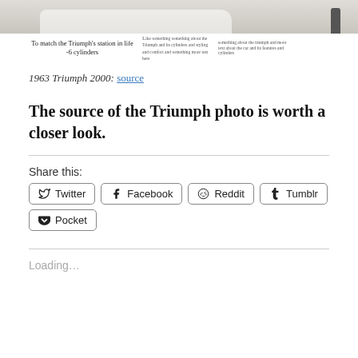[Figure (photo): Partial advertisement image showing a white Triumph 2000 car with text 'To match the Triumph's station in life -6 cylinders' and columns of advertising text]
1963 Triumph 2000: source
The source of the Triumph photo is worth a closer look.
Share this:
Twitter  Facebook  Reddit  Tumblr  Pocket
Loading...